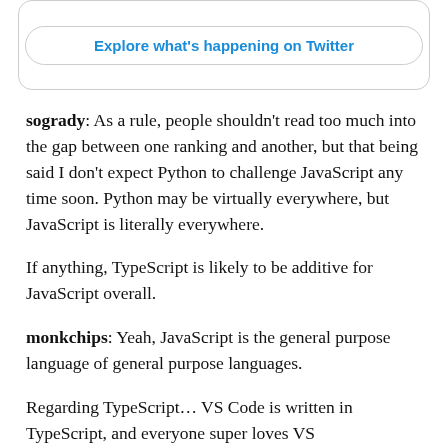[Figure (screenshot): Twitter 'Explore what's happening on Twitter' button inside a rounded rectangle box]
sogrady: As a rule, people shouldn't read too much into the gap between one ranking and another, but that being said I don't expect Python to challenge JavaScript any time soon. Python may be virtually everywhere, but JavaScript is literally everywhere.
If anything, TypeScript is likely to be additive for JavaScript overall.
monkchips: Yeah, JavaScript is the general purpose language of general purpose languages.
Regarding TypeScript… VS Code is written in TypeScript, and everyone super loves VS